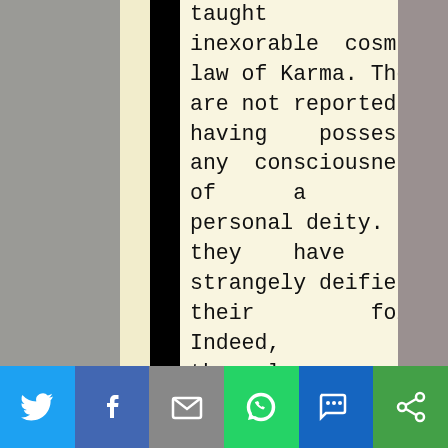taught the inexorable cosmic law of Karma. They are not reported as having possessed any consciousness of a supreme personal deity. Yet they have been strangely deified by their followers. Indeed, they themselves have been worshipped, even with multitudinous idols
[Figure (screenshot): Social sharing toolbar at the bottom with icons for Twitter, Facebook, Email, WhatsApp, SMS, and More (share)]